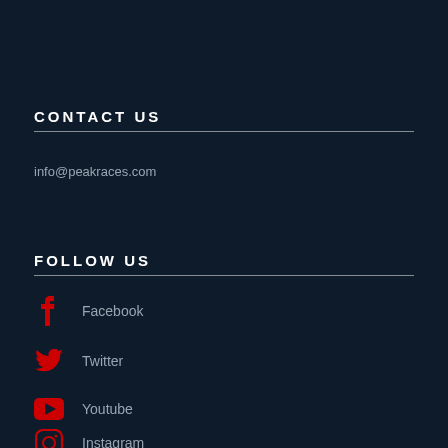CONTACT US
info@peakraces.com
FOLLOW US
Facebook
Twitter
Youtube
Instagram